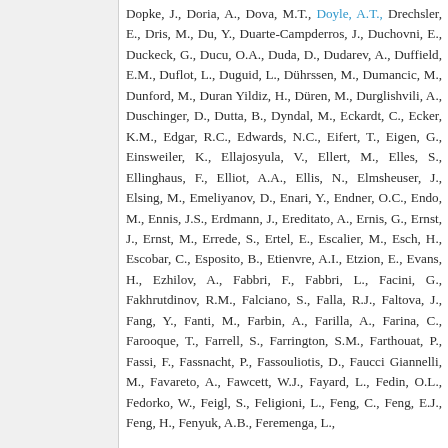Dopke, J., Doria, A., Dova, M.T., Doyle, A.T., Drechsler, E., Dris, M., Du, Y., Duarte-Campderros, J., Duchovni, E., Duckeck, G., Ducu, O.A., Duda, D., Dudarev, A., Duffield, E.M., Duflot, L., Duguid, L., Dührssen, M., Dumancic, M., Dunford, M., Duran Yildiz, H., Düren, M., Durglishvili, A., Duschinger, D., Dutta, B., Dyndal, M., Eckardt, C., Ecker, K.M., Edgar, R.C., Edwards, N.C., Eifert, T., Eigen, G., Einsweiler, K., Ellajosyula, V., Ellert, M., Elles, S., Ellinghaus, F., Elliot, A.A., Ellis, N., Elmsheuser, J., Elsing, M., Emeliyanov, D., Enari, Y., Endner, O.C., Endo, M., Ennis, J.S., Erdmann, J., Ereditato, A., Ernis, G., Ernst, J., Ernst, M., Errede, S., Ertel, E., Escalier, M., Esch, H., Escobar, C., Esposito, B., Etienvre, A.I., Etzion, E., Evans, H., Ezhilov, A., Fabbri, F., Fabbri, L., Facini, G., Fakhrutdinov, R.M., Falciano, S., Falla, R.J., Faltova, J., Fang, Y., Fanti, M., Farbin, A., Farilla, A., Farina, C., Farooque, T., Farrell, S., Farrington, S.M., Farthouat, P., Fassi, F., Fassnacht, P., Fassouliotis, D., Faucci Giannelli, M., Favareto, A., Fawcett, W.J., Fayard, L., Fedin, O.L., Fedorko, W., Feigl, S., Feligioni, L., Feng, C., Feng, E.J., Feng, H., Fenyuk, A.B., Feremenga, L.,